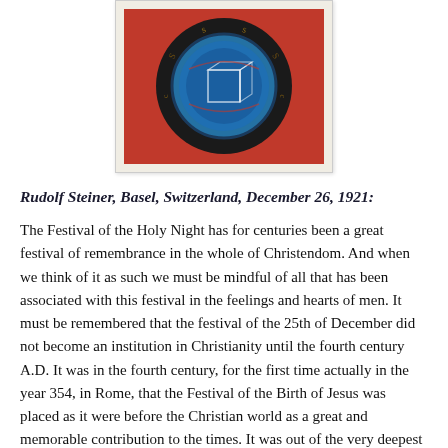[Figure (illustration): Framed artwork showing a circular mandala-like design with a blue circle at center containing a white cube outline, surrounded by a black ring with letters/symbols, set against a red background. The frame has a cream/beige mat.]
Rudolf Steiner, Basel, Switzerland, December 26, 1921:
The Festival of the Holy Night has for centuries been a great festival of remembrance in the whole of Christendom. And when we think of it as such we must be mindful of all that has been associated with this festival in the feelings and hearts of men. It must be remembered that the festival of the 25th of December did not become an institution in Christianity until the fourth century A.D. It was in the fourth century, for the first time actually in the year 354, in Rome, that the Festival of the Birth of Jesus was placed as it were before the Christian world as a great and memorable contribution to the times. It was out of the very deepest